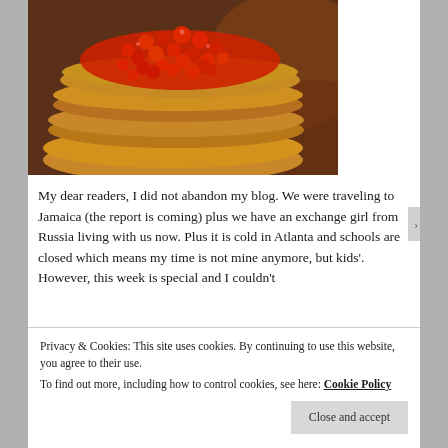[Figure (photo): Close-up photo of stacked blini/pancakes topped with bright red salmon roe/caviar, warm golden-brown color, on a dark background]
My dear readers, I did not abandon my blog. We were traveling to Jamaica (the report is coming) plus we have an exchange girl from Russia living with us now. Plus it is cold in Atlanta and schools are closed which means my time is not mine anymore, but kids'. However, this week is special and I couldn't
Privacy & Cookies: This site uses cookies. By continuing to use this website, you agree to their use.
To find out more, including how to control cookies, see here: Cookie Policy
Close and accept